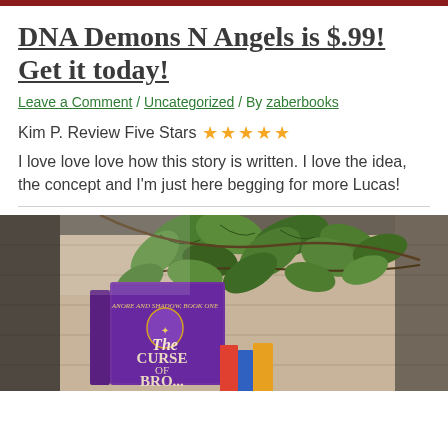DNA Demons N Angels is $.99! Get it today!
Leave a Comment / Uncategorized / By zaberbooks
Kim P. Review Five Stars ★★★★★
I love love love how this story is written. I love the idea, the concept and I'm just here begging for more Lucas!
[Figure (photo): A book titled 'The Curse of Bro...' with a purple cover, surrounded by green ivy leaves on a wooden surface with other colorful books]